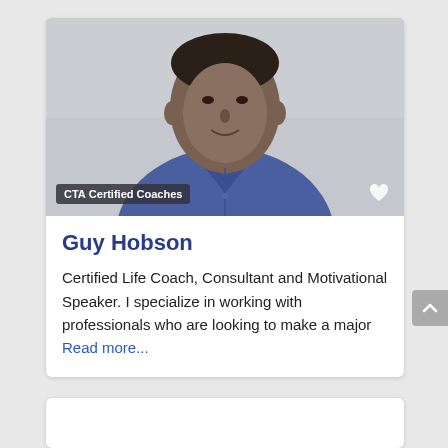[Figure (photo): Headshot photo of Guy Hobson, a man wearing a blue button-up shirt, smiling, against a light gray background. Overlay badge reads 'CTA Certified Coaches'.]
Guy Hobson
Certified Life Coach, Consultant and Motivational Speaker. I specialize in working with professionals who are looking to make a major Read more...